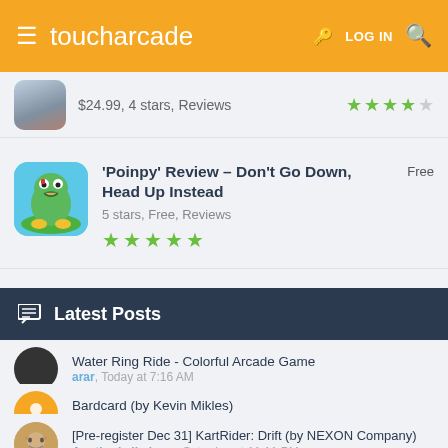toucharcade — LOG IN
$24.99, 4 stars, Reviews
'Poinpy' Review – Don't Go Down, Head Up Instead
5 stars, Free, Reviews
Free
Latest Posts
Water Ring Ride - Colorful Arcade Game
arar, Today at 7:16 AM
Bardcard (by Kevin Mikles)
anthony78, Today at 3:41 AM
[Pre-register Dec 31] KartRider: Drift (by NEXON Company)
Anotherkellydown, Saturday at 11:11 PM